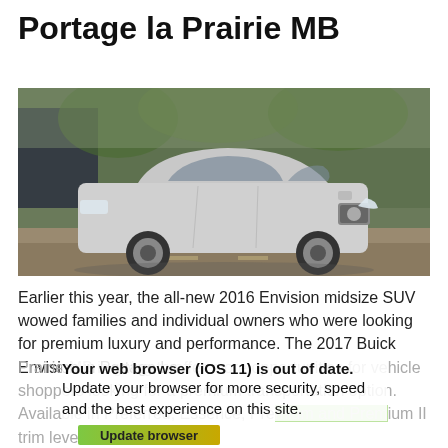Portage la Prairie MB
[Figure (photo): 2017 Buick Envision silver midsize SUV driving on a road with blurred background of trees and buildings]
Earlier this year, the all-new 2016 Envision midsize SUV wowed families and individual owners who were looking for premium luxury and performance. The 2017 Buick Envision in Portage La Prairie MB is going to offer more opportunities for vehicle shoppers looking for a premium transportation option. Available in Preferred, Essence, Premium and Premium II trim levels, the
Your web browser (iOS 11) is out of date. Update your browser for more security, speed and the best experience on this site.